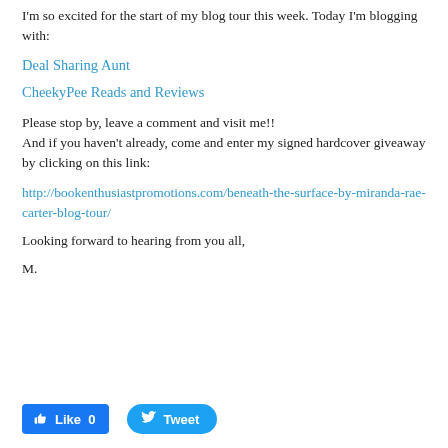I'm so excited for the start of my blog tour this week.  Today I'm blogging with:
Deal Sharing Aunt
CheekyPee Reads and Reviews
Please stop by, leave a comment and visit me!!
And if you haven't already, come and enter my signed hardcover giveaway by clicking on this link:
http://bookenthusiastpromotions.com/beneath-the-surface-by-miranda-rae-carter-blog-tour/
Looking forward to hearing from you all,
M.
[Figure (other): Facebook Like button showing count 0 and Twitter Tweet button]